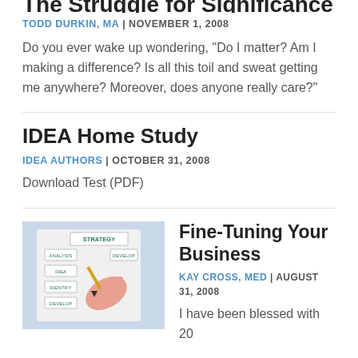The Struggle for Significance (partially clipped at top)
TODD DURKIN, MA | NOVEMBER 1, 2008
Do you ever wake up wondering, “Do I matter? Am I making a difference? Is all this toil and sweat getting me anywhere? Moreover, does anyone really care?”
IDEA Home Study
IDEA AUTHORS | OCTOBER 31, 2008
Download Test (PDF)
[Figure (photo): A hand pointing at a business strategy diagram showing labeled boxes: STRATEGY, DEVELOP, ANALYSIS, IDEA, IDENTIFY, DEVELOP]
Fine-Tuning Your Business
KAY CROSS, MED | AUGUST 31, 2008
I have been blessed with 20